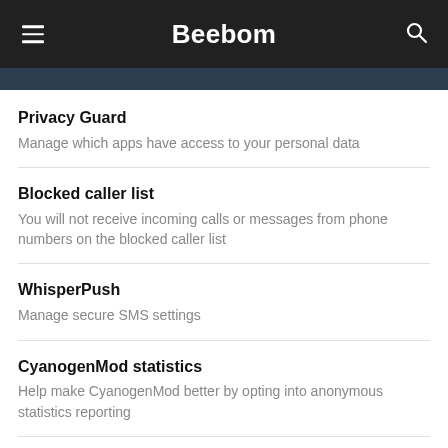Beebom
[Figure (screenshot): Dark blue strip at the top of a mobile app screen]
Privacy Guard
Manage which apps have access to your personal data
Blocked caller list
You will not receive incoming calls or messages from phone numbers on the blocked caller list
WhisperPush
Manage secure SMS settings
CyanogenMod statistics
Help make CyanogenMod better by opting into anonymous statistics reporting